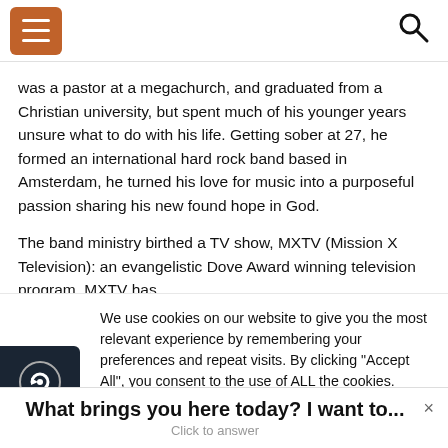[hamburger menu icon] [search icon]
was a pastor at a megachurch, and graduated from a Christian university, but spent much of his younger years unsure what to do with his life. Getting sober at 27, he formed an international hard rock band based in Amsterdam, he turned his love for music into a purposeful passion sharing his new found hope in God.
The band ministry birthed a TV show, MXTV (Mission X Television): an evangelistic Dove Award winning television program. MXTV has
We use cookies on our website to give you the most relevant experience by remembering your preferences and repeat visits. By clicking "Accept All", you consent to the use of ALL the cookies. However, you may visit "Cookie Settings" to provide a controlled consent.
What brings you here today? I want to...
Click to answer